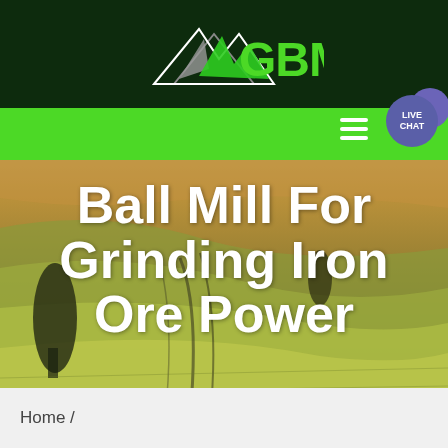[Figure (logo): GBM logo with mountain/arrow icon in white/grey on dark green background with bright green GBM text]
[Figure (photo): Aerial view of rolling agricultural fields with green and golden tones, dark tree silhouettes visible]
Ball Mill For Grinding Iron Ore Power
Home /